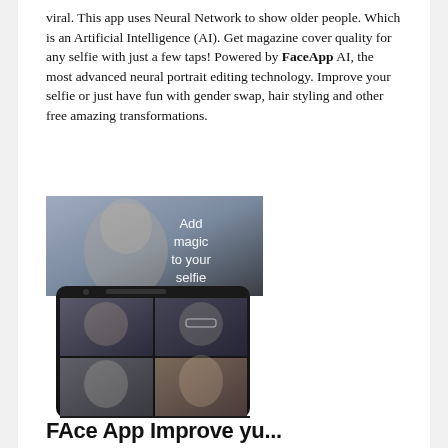viral. This app uses Neural Network to show older people. Which is an Artificial Intelligence (AI). Get magazine cover quality for any selfie with just a few taps! Powered by FaceApp AI, the most advanced neural portrait editing technology. Improve your selfie or just have fun with gender swap, hair styling and other free amazing transformations.
[Figure (photo): FaceApp promotional image showing a man's face with 'Add magic to your selfie' text overlay, and a smartphone screen displaying four face transformation examples (original, glasses, older, female) with app toolbar at the bottom showing Collage, Duo, Mirror, Leaks, Gift icons.]
FAce App Improve yu...